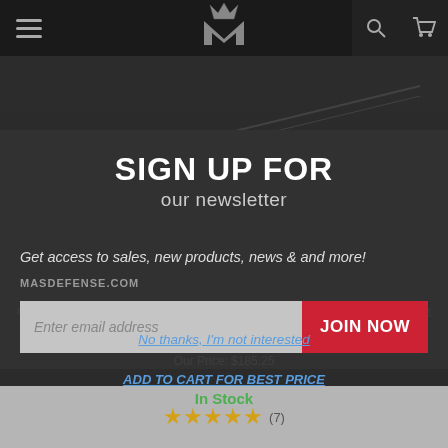[Figure (screenshot): Website navbar with hamburger menu icon on left, stylized M crown logo in center, search icon and shopping cart icon on right, dark background]
SIGN UP FOR
our newsletter
Get access to sales, new products, news & and more!
MASDefense.com
Enter email address
JOIN NOW
BALLISTIC ADVANTAGE TAKE 16" STAINLESS STEEL MID-LENGTH BARREL - PREMIUM BABL223016P
RETAIL: $195.00
Our Price: $185.25
No thanks, I'm not interested
Add to Cart for Best Price
In Stock
(7)